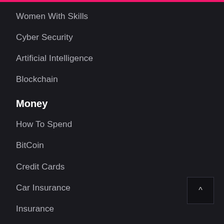Women With Skills
Cyber Security
Artificial Intelligence
Blockchain
Money
How To Spend
BitCoin
Credit Cards
Car Insurance
Insurance
Life Insurance